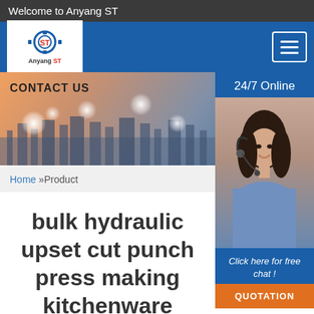Welcome to Anyang ST
[Figure (logo): Anyang ST gear logo with red and blue ST letters, white background, inside blue navigation header with hamburger menu button]
[Figure (photo): Contact Us banner with city skyline background and decorative light orbs]
[Figure (photo): 24/7 Online sidebar with customer service agent photo (woman with headset), 'Click here for free chat!' text, and orange QUOTATION button]
Home »Product
bulk hydraulic upset cut punch press making kitchenware forging
Just fill in the form below, click submit, you will get the price list, and we will contact you within one working day. Please also feel free to contact us via email or phone. (*